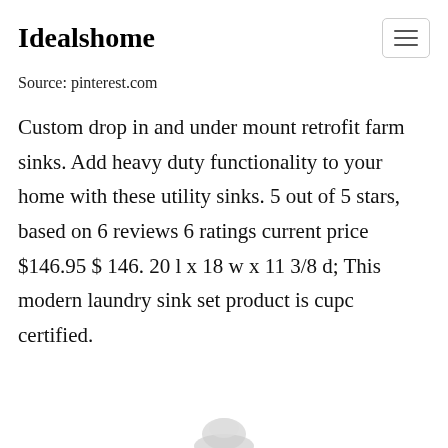Idealshome
Source: pinterest.com
Custom drop in and under mount retrofit farm sinks. Add heavy duty functionality to your home with these utility sinks. 5 out of 5 stars, based on 6 reviews 6 ratings current price $146.95 $ 146. 20 l x 18 w x 11 3/8 d; This modern laundry sink set product is cupc certified.
[Figure (photo): Partial view of a sink or faucet at the bottom of the page]